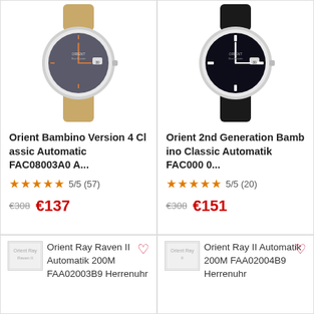[Figure (photo): Watch product photo: Orient Bambino Version 4 Classic with gray dial and tan leather strap]
Orient Bambino Version 4 Classic Automatic FAC08003A0A...
★★★★★ 5/5 (57)
€308 €137
[Figure (photo): Watch product photo: Orient 2nd Generation Bambino Classic Automatik with black dial and black leather strap]
Orient 2nd Generation Bambino Classic Automatik FAC0000...
★★★★★ 5/5 (20)
€308 €151
[Figure (photo): Thumbnail placeholder: Orient Ray Raven II Automatik 200M FAA02003B9 Herrenuhr]
Orient Ray Raven II Automatik 200M FAA02003B9 Herrenuhr
[Figure (photo): Thumbnail placeholder: Orient Ray II Automatik 200M FAA02004B9 Herrenuhr]
Orient Ray II Automatik 200M FAA02004B9 Herrenuhr